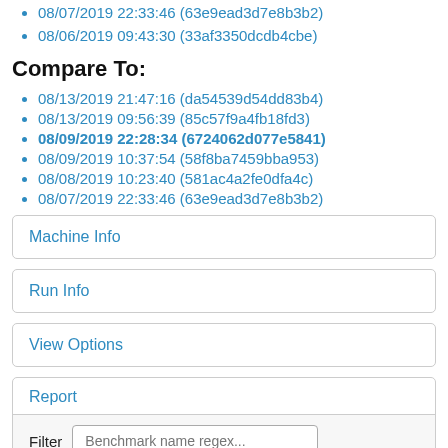08/07/2019 22:33:46 (63e9ead3d7e8b3b2)
08/06/2019 09:43:30 (33af3350dcdb4cbe)
Compare To:
08/13/2019 21:47:16 (da54539d54dd83b4)
08/13/2019 09:56:39 (85c57f9a4fb18fd3)
08/09/2019 22:28:34 (6724062d077e5841)
08/09/2019 10:37:54 (58f8ba7459bba953)
08/08/2019 10:23:40 (581ac4a2fe0dfa4c)
08/07/2019 22:33:46 (63e9ead3d7e8b3b2)
Machine Info
Run Info
View Options
Report
Filter
Benchmark name regex...